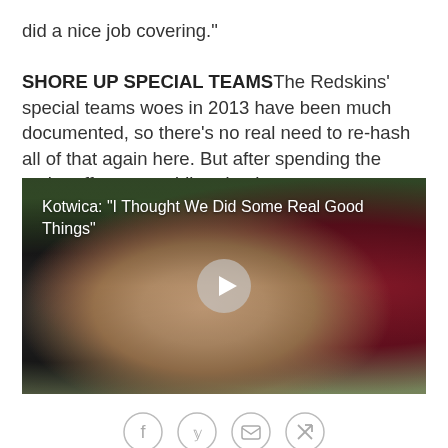did a nice job covering."

SHORE UP SPECIAL TEAMS The Redskins' special teams woes in 2013 have been much documented, so there's no real need to re-hash all of that again here. But after spending the entire offseason adding depth to
[Figure (photo): Video thumbnail showing a man in a red/maroon shirt being interviewed outdoors. Overlay text reads: Kotwica: "I Thought We Did Some Real Good Things". A play button is visible in the center.]